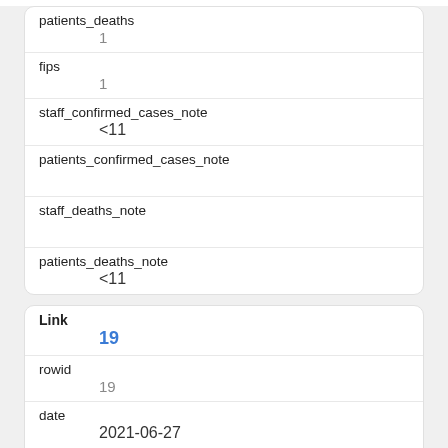| patients_deaths | 1 |
| fips | 1 |
| staff_confirmed_cases_note | <11 |
| patients_confirmed_cases_note |  |
| staff_deaths_note |  |
| patients_deaths_note | <11 |
| Link | 19 |
| --- | --- |
| rowid | 19 |
| date | 2021-06-27 |
| name |  |